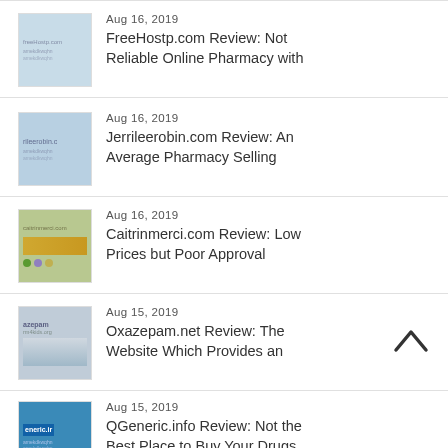Aug 16, 2019
FreeHostp.com Review: Not Reliable Online Pharmacy with
Aug 16, 2019
Jerrileerobin.com Review: An Average Pharmacy Selling
Aug 16, 2019
Caitrinmerci.com Review: Low Prices but Poor Approval
Aug 15, 2019
Oxazepam.net Review: The Website Which Provides an
Aug 15, 2019
QGeneric.info Review: Not the Best Place to Buy Your Drugs